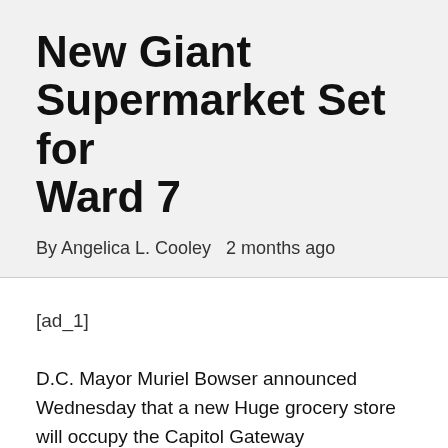New Giant Supermarket Set for Ward 7
By Angelica L. Cooley   2 months ago
[ad_1]
D.C. Mayor Muriel Bowser announced Wednesday that a new Huge grocery store will occupy the Capitol Gateway Marketplace web-site in Ward 7.
The retailer will be located at the intersection